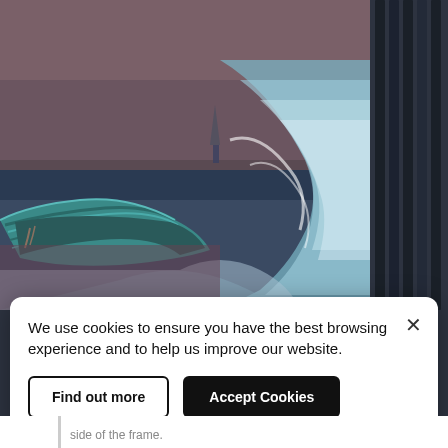[Figure (illustration): Close-up of an oil painting showing a turquoise/teal wooden boat in the foreground with rough sea waves and a distant sailing ship on a dark stormy sea. The painting is shown with part of a dark frame visible on the right side. The right portion of the image shows a dark navy/charcoal background panel with dark vertical frame bars.]
We use cookies to ensure you have the best browsing experience and to help us improve our website.
Find out more
Accept Cookies
side of the frame.